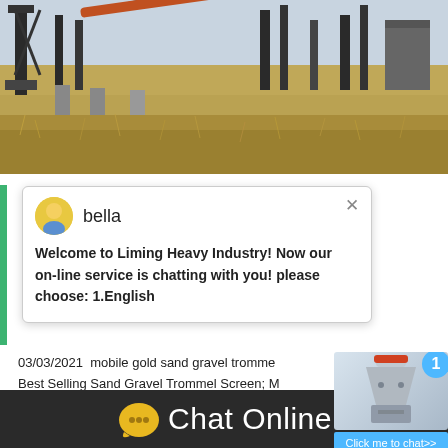[Figure (photo): Outdoor industrial mining/crushing facility with large metal structures, conveyors, and support columns on open grassland under a pale sky]
[Figure (screenshot): Live chat popup from Liming Heavy Industry website with avatar of agent named 'bella' and a welcome message offering English language service]
03/03/2021  mobile gold sand gravel trommel screen Best Selling Sand Gravel Trommel Screen; Mining Sand gravel Stone Drum Trommel Screen Set, New, Circular, Get Price. gravel and sand ecdin. Sand Gravel Equipment Mobile Screen
[Figure (screenshot): Right-side chat widget showing a cone crusher machine image with blue badge showing '1' and a 'Click me to chat>>' button]
[Figure (screenshot): Chat Online button bar at the bottom with yellow speech bubble icon and white 'Chat Online' text on dark background]